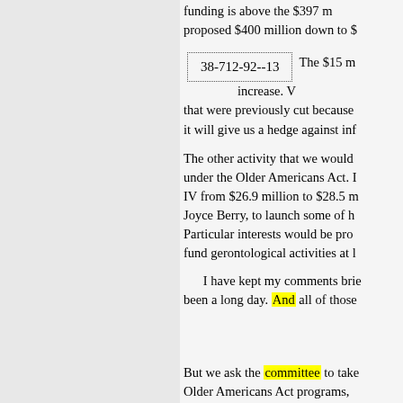funding is above the $397 million proposed $400 million down to $
38-712-92--13   The $15 m increase. V that were previously cut because it will give us a hedge against inf
The other activity that we would under the Older Americans Act. IV from $26.9 million to $28.5 m Joyce Berry, to launch some of h Particular interests would be pro fund gerontological activities at l
I have kept my comments brie been a long day. And all of those
But we ask the committee to take Older Americans Act programs, care services programs, your Hea positions from title V that augme by these various agencies, not jus this country, child care programs